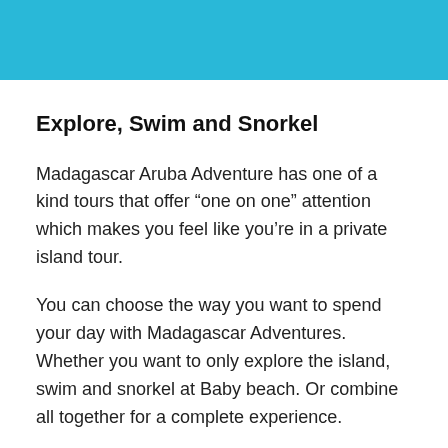Explore, Swim and Snorkel
Madagascar Aruba Adventure has one of a kind tours that offer “one on one” attention which makes you feel like you’re in a private island tour.
You can choose the way you want to spend your day with Madagascar Adventures. Whether you want to only explore the island, swim and snorkel at Baby beach. Or combine all together for a complete experience.